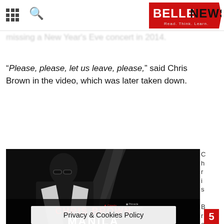BELLENEWS - Read. Think. Learn.
missing a New Year's Eve concert in 2014.
“Please, please, let us leave, please,” said Chris Brown in the video, which was later taken down.
[Figure (photo): Black and white promotional photo of Chris Brown wearing sunglasses and a white suit jacket, with 'CHRIS BROWN LIVE IN MANILA' text and logos for Gigstix and Pinnacle Live Concepts at the bottom]
Chris Brown went d
Privacy & Cookies Policy